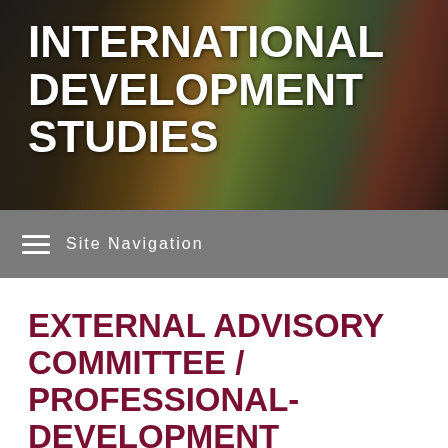INTERNATIONAL DEVELOPMENT STUDIES
Site Navigation
EXTERNAL ADVISORY COMMITTEE / PROFESSIONAL-DEVELOPMENT MENTORS
CHRIS HYSLOP (EAC CHAIR)